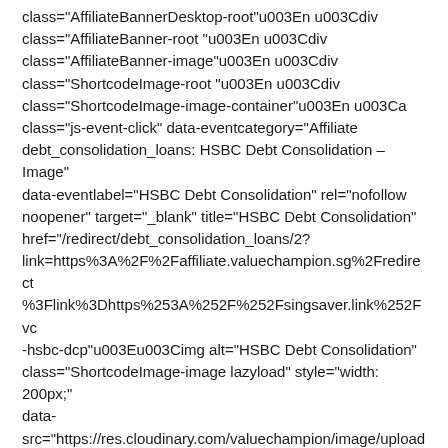class="AffiliateBannerDesktop-root"u003En u003Cdiv class="AffiliateBanner-root "u003En u003Cdiv class="AffiliateBanner-image"u003En u003Cdiv class="ShortcodeImage-root "u003En u003Cdiv class="ShortcodeImage-image-container"u003En u003Ca class="js-event-click" data-eventcategory="Affiliate debt_consolidation_loans: HSBC Debt Consolidation – Image" data-eventlabel="HSBC Debt Consolidation" rel="nofollow noopener" target="_blank" title="HSBC Debt Consolidation" href="/redirect/debt_consolidation_loans/2?link=https%3A%2F%2Faffiliate.valuechampion.sg%2Fredirect%3Flink%3Dhttps%253A%252F%252Fsingsaver.link%252Fvc-hsbc-dcp"u003Eu003Cimg alt="HSBC Debt Consolidation" class="ShortcodeImage-image lazyload" style="width: 200px;" data-src="https://res.cloudinary.com/valuechampion/image/upload/c_fit,dpr_1.0,f_auto,h_1600,q_auto,w_200/v1/referral_logos/banking/hsbc-1"